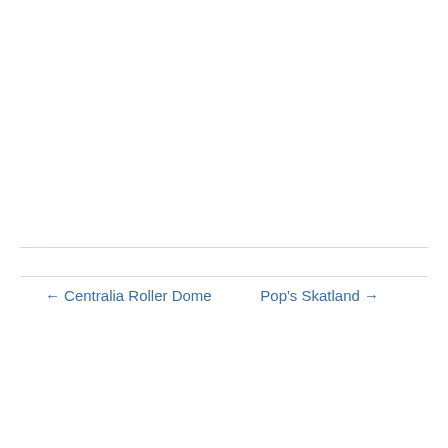← Centralia Roller Dome
Pop's Skatland →